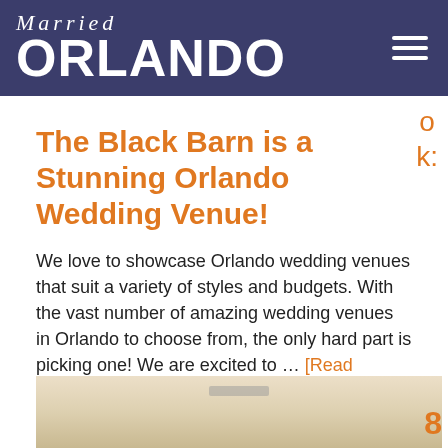Married ORLANDO
ok:
The Black Barn is a Stunning Orlando Wedding Venue!
We love to showcase Orlando wedding venues that suit a variety of styles and budgets. With the vast number of amazing wedding venues in Orlando to choose from, the only hard part is picking one! We are excited to … [Read More...]
[Figure (photo): Partial view of a wedding venue interior, beige/cream toned image at bottom of page]
8